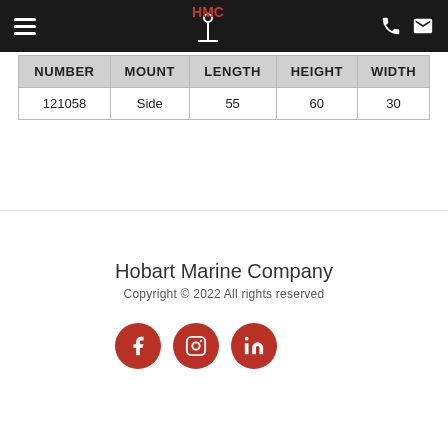Hobart Marine Company navigation header with logo, hamburger menu, phone and email icons
| NUMBER | MOUNT | LENGTH | HEIGHT | WIDTH |
| --- | --- | --- | --- | --- |
| 121058 | Side | 55 | 60 | 30 |
Hobart Marine Company
Copyright © 2022 All rights reserved